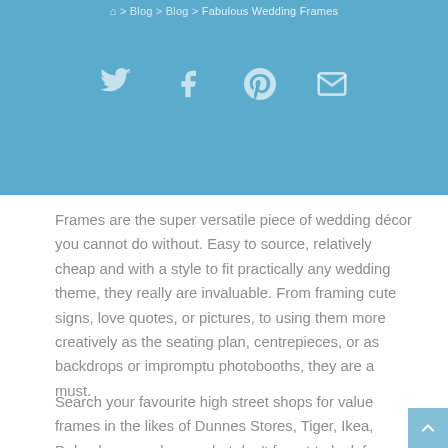🏠 > Blog > Blog > Fabulous Wedding Frames
[Figure (illustration): Social share icons on blue background: Twitter bird, Facebook f, Pinterest p, Email envelope]
Frames are the super versatile piece of wedding décor you cannot do without. Easy to source, relatively cheap and with a style to fit practically any wedding theme, they really are invaluable. From framing cute signs, love quotes, or pictures, to using them more creatively as the seating plan, centrepieces, or as backdrops or impromptu photobooths, they are a must.
Search your favourite high street shops for value frames in the likes of Dunnes Stores, Tiger, Ikea, Debenhams and so on, but don't forget to look for some antique versions in